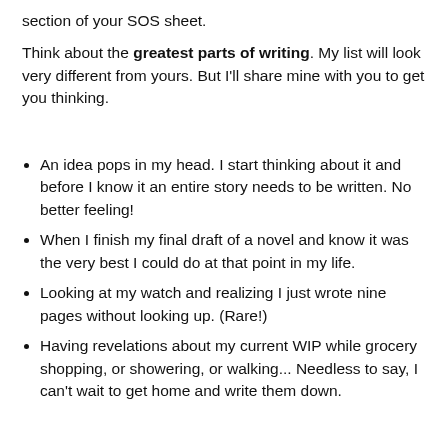section of your SOS sheet.
Think about the greatest parts of writing. My list will look very different from yours. But I'll share mine with you to get you thinking.
An idea pops in my head. I start thinking about it and before I know it an entire story needs to be written. No better feeling!
When I finish my final draft of a novel and know it was the very best I could do at that point in my life.
Looking at my watch and realizing I just wrote nine pages without looking up. (Rare!)
Having revelations about my current WIP while grocery shopping, or showering, or walking... Needless to say, I can't wait to get home and write them down.